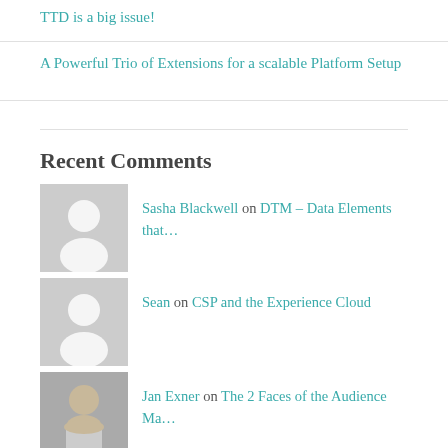TTD is a big issue!
A Powerful Trio of Extensions for a scalable Platform Setup
Recent Comments
Sasha Blackwell on DTM – Data Elements that…
Sean on CSP and the Experience Cloud
Jan Exner on The 2 Faces of the Audience Ma…
Benjie on The 2 Faces of the Audience Ma…